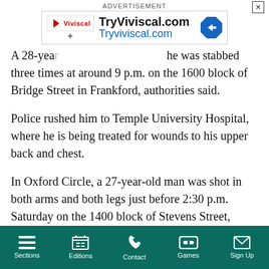[Figure (other): Advertisement banner for TryViviscal.com with Viviscal logo, play button, URL text in black and blue, and a blue diamond arrow icon. Labeled ADVERTISEMENT with X close button.]
A 28-year-[old man was critically wounded after] he was stabbed three times at around 9 p.m. on the 1600 block of Bridge Street in Frankford, authorities said.
Police rushed him to Temple University Hospital, where he is being treated for wounds to his upper back and chest.
In Oxford Circle, a 27-year-old man was shot in both arms and both legs just before 2:30 p.m. Saturday on the 1400 block of Stevens Street, authorities said. He was in critical condition at Jefferson Torresdale Hospital.
Sections | Editions | Contact | Games | Sign Up